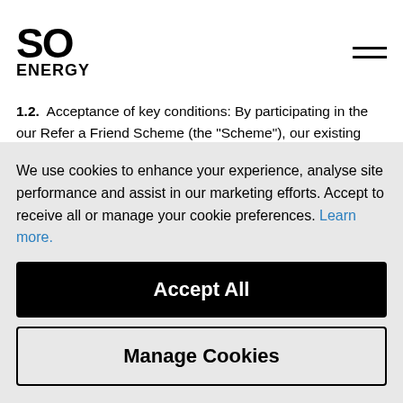SO ENERGY
1.2. Acceptance of key conditions: By participating in the our Refer a Friend Scheme (the "Scheme"), our existing customers ("Referrers") and the friends that they refer ("Referred Friends") are deemed to accept the following key conditions.
1.3. Eligibility: Referrers must be existing customers. Referred Friends must not have already signed up to
We use cookies to enhance your experience, analyse site performance and assist in our marketing efforts. Accept to receive all or manage your cookie preferences. Learn more.
Accept All
Manage Cookies